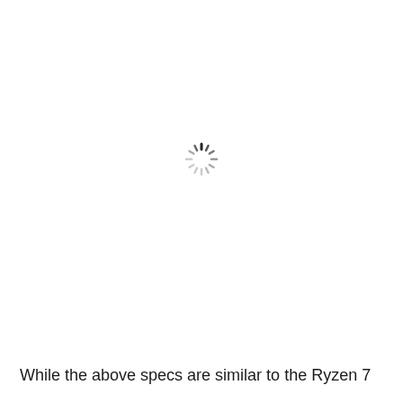[Figure (other): Loading spinner icon — a circular arrangement of short dark dashes/lines radiating from the center, resembling a clock or loading indicator, rendered in dark gray on white background]
While the above specs are similar to the Ryzen 7